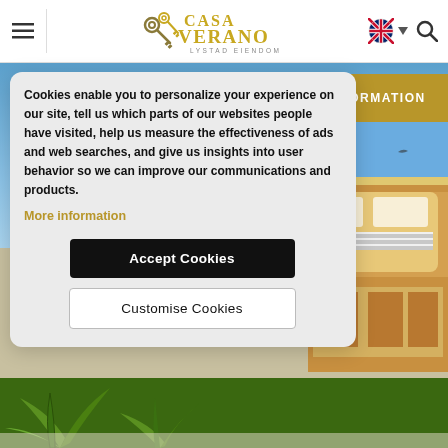Casa Verano Lystad Eiendom
[Figure (screenshot): Casa Verano Lystad Eiendom website screenshot showing cookie consent modal, navigation header with hamburger menu and logo, a yellow FORMATION button, a building photo on the right, and palm/garden photo at bottom.]
Cookies enable you to personalize your experience on our site, tell us which parts of our websites people have visited, help us measure the effectiveness of ads and web searches, and give us insights into user behavior so we can improve our communications and products.
More information
Accept Cookies
Customise Cookies